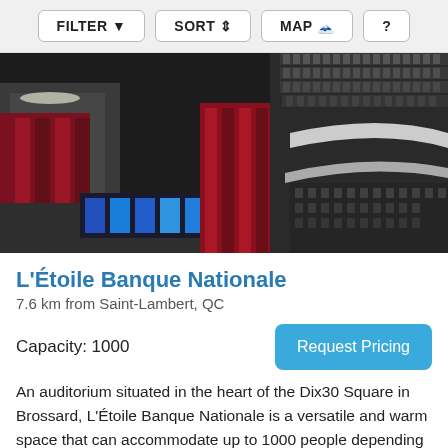FILTER  SORT  MAP  ?
[Figure (photo): Interior of L'Étoile Banque Nationale auditorium showing tiered seating, red curtains on stage, and a blue-lit technical booth area in the center.]
L'Étoile Banque Nationale
7.6 km from Saint-Lambert, QC
Capacity: 1000
Request Pricing
An auditorium situated in the heart of the Dix30 Square in Brossard, L'Étoile Banque Nationale is a versatile and warm space that can accommodate up to 1000 people depending on the configuration d'espace. Several types of configuration are available.